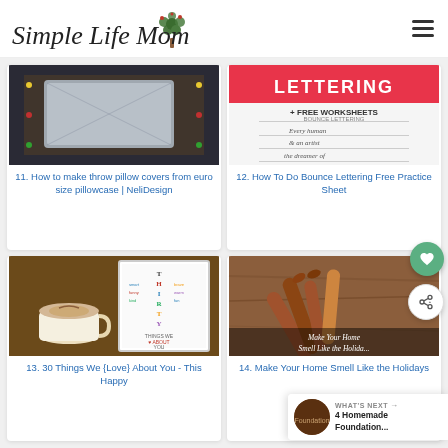Simple Life Mom
[Figure (photo): Throw pillow cover made from euro size pillowcase with decorative border fabric]
11. How to make throw pillow covers from euro size pillowcase | NeliDesign
[Figure (photo): Bounce lettering worksheet with text LETTERING + FREE WORKSHEETS, bounce lettering practice sheet showing handwritten phrases]
12. How To Do Bounce Lettering Free Practice Sheet
[Figure (photo): 30 Things We Love About You framed print next to coffee cup]
13. 30 Things We {Love} About You - This Happy
[Figure (photo): Cinnamon sticks on wood surface with text Make Your Home Smell Like the Holidays]
14. Make Your Home Smell Like the Holidays
WHAT'S NEXT → 4 Homemade Foundation...